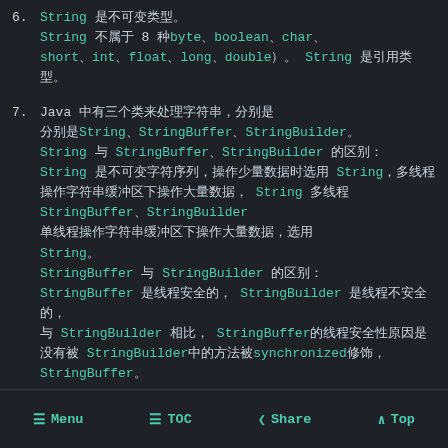6. String是不可变类型。String不属于8种基本数据类型（byte、boolean、char、short、int、float、long、double）。 String是引用类型。
7. Java中有三个类来处理字符串，分别是String、StringBuffer、StringBuilder。String 与 StringBuffer、StringBuilder 的区别：String 是不可变字符序列，操作少量数据时选用 String，多线程操作字符串缓冲区下操作大量数据，选用StringBuffer，单线程操作字符串缓冲区下操作大量数据，选用String。
StringBuffer 与 StringBuilder 的区别：StringBuffer 是线程安全的， StringBuilder 是线程不安全的，与 StringBuilder 相比，StringBuffer 的线程安全性原因是 StringBuilder中的方法没有被synchronized修饰，所以 StringBuffer比 StringBuilder安全，但是 StringBuilder速度更快，通常使用 StringBuffer。
8. String str="i"与 String str=new String("i")的区别...
Menu   TOC   Share   Top